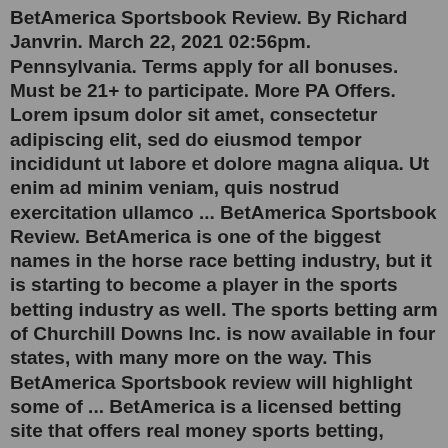BetAmerica Sportsbook Review. By Richard Janvrin. March 22, 2021 02:56pm. Pennsylvania. Terms apply for all bonuses. Must be 21+ to participate. More PA Offers. Lorem ipsum dolor sit amet, consectetur adipiscing elit, sed do eiusmod tempor incididunt ut labore et dolore magna aliqua. Ut enim ad minim veniam, quis nostrud exercitation ullamco ... BetAmerica Sportsbook Review. BetAmerica is one of the biggest names in the horse race betting industry, but it is starting to become a player in the sports betting industry as well. The sports betting arm of Churchill Downs Inc. is now available in four states, with many more on the way. This BetAmerica Sportsbook review will highlight some of ... BetAmerica is a licensed betting site that offers real money sports betting, horse racing betting, poker and casino games to customers across the United States. It's parent company is Churchill...BetAmerica Sportsbook Offers – Bet $5 Get $20 in Free Bets. Although BetAmerica Sportsbook in NJ may have a